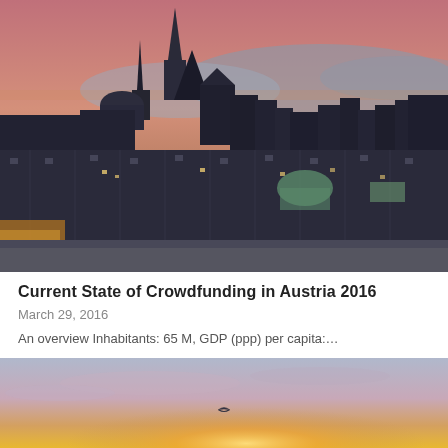[Figure (photo): Aerial dusk/twilight panoramic photograph of Vienna, Austria, showing the city skyline with gothic church spires including St. Stephen's Cathedral, rooftops, and warm orange-pink sky in the background.]
Current State of Crowdfunding in Austria 2016
March 29, 2016
An overview Inhabitants: 65 M, GDP (ppp) per capita:…
[Figure (photo): Photograph of a sunset or sunrise sky with warm golden and lavender tones, a silhouette of a bird in flight, and soft glowing light near the horizon.]